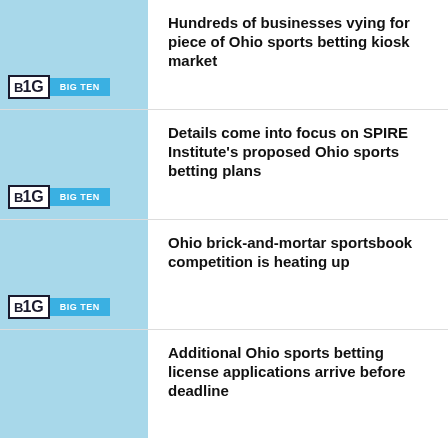Hundreds of businesses vying for piece of Ohio sports betting kiosk market
Details come into focus on SPIRE Institute's proposed Ohio sports betting plans
Ohio brick-and-mortar sportsbook competition is heating up
Additional Ohio sports betting license applications arrive before deadline